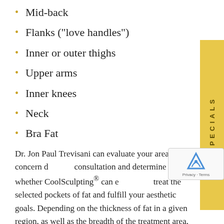Mid-back
Flanks (“love handles”)
Inner or outer thighs
Upper arms
Inner knees
Neck
Bra Fat
Dr. Jon Paul Trevisani can evaluate your areas of concern during a consultation and determine whether CoolSculpting® can effectively treat the selected pockets of fat and fulfill your aesthetic goals. Depending on the thickness of fat in a given region, as well as the breadth of the treatment area, more than one CoolSculpting®